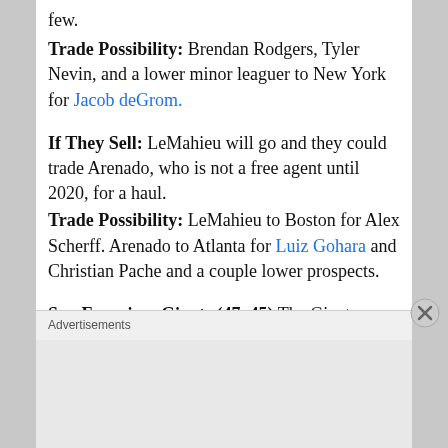few.
Trade Possibility: Brendan Rodgers, Tyler Nevin, and a lower minor leaguer to New York for Jacob deGrom.
If They Sell: LeMahieu will go and they could trade Arenado, who is not a free agent until 2020, for a haul.
Trade Possibility: LeMahieu to Boston for Alex Scherff. Arenado to Atlanta for Luiz Gohara and Christian Pache and a couple lower prospects.
San Francisco Giants (47–45) The Giants acquired Andrew McCutchen and Evan Longoria in the offseason in the hopes of
Advertisements